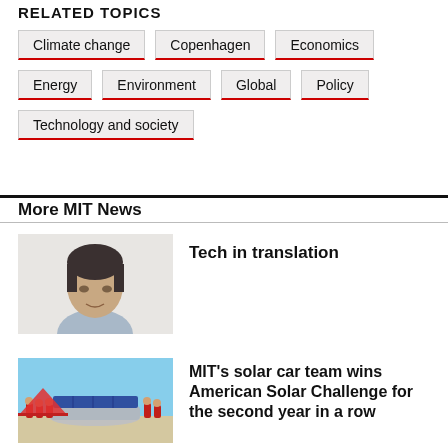RELATED TOPICS
Climate change
Copenhagen
Economics
Energy
Environment
Global
Policy
Technology and society
More MIT News
[Figure (photo): Portrait photo of a man with dark hair wearing a light blue shirt, white background]
Tech in translation
[Figure (photo): Group photo of MIT solar car team members in red shirts at an outdoor event with a solar car]
MIT's solar car team wins American Solar Challenge for the second year in a row